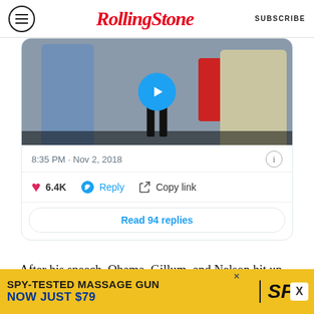Rolling Stone — SUBSCRIBE
[Figure (screenshot): Tweet card showing a video thumbnail of people at a rally (Obama, Gillum, Nelson), with timestamp 8:35 PM · Nov 2, 2018, 6.4K likes, Reply, Copy link actions, and Read 94 replies button]
After his speech, Obama, Gillum, and Nelson hit up local taco spot Coyo in Wynwood, Florida, to the delight of the customers and staff. Obama reportedly left a $40 tip.
[Figure (infographic): Advertisement: SPY-TESTED MASSAGE GUN NOW JUST $79 with SPY logo]